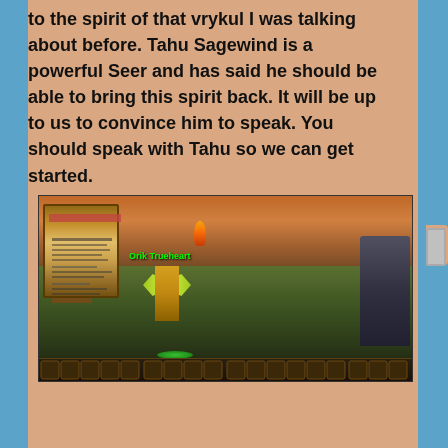to the spirit of that vrykul I was talking about before. Tahu Sagewind is a powerful Seer and has said he should be able to bring this spirit back. It will be up to us to convince him to speak. You should speak with Tahu so we can get started.
[Figure (screenshot): World of Warcraft game screenshot showing a character named 'Orik Trueheart' in yellow and green armor standing on a grassy field. A quest log UI panel is visible on the left. A large NPC with armor is visible on the right edge. Fire effects and rocky terrain are in the background. Action bar is visible at the bottom.]